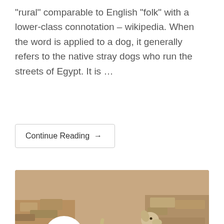“rural” comparable to English “folk” with a lower-class connotation – wikipedia. When the word is applied to a dog, it generally refers to the native stray dogs who run the streets of Egypt. It is …
Continue Reading →
[Figure (photo): Sepia-toned photo of a stray dog standing in a rocky, dusty outdoor area. The dog is light-colored, standing sideways with its head tilted up. Rubble and rocks are visible in the background. A white circular date badge shows '14 Feb' in red text in the lower left. A red scroll-up button is in the lower right corner.]